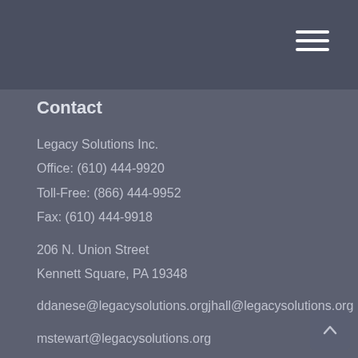Contact
Legacy Solutions Inc.
Office: (610) 444-9920
Toll-Free: (866) 444-9952
Fax: (610) 444-9918
206 N. Union Street
Kennett Square, PA 19348
ddanese@legacysolutions.orgjhall@legacysolutions.org
mstewart@legacysolutions.org
cdaneseprice@legacysolutions.org